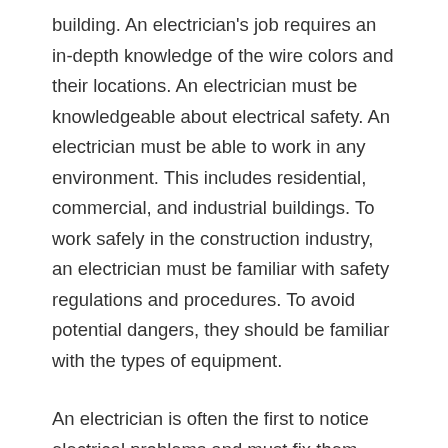building. An electrician's job requires an in-depth knowledge of the wire colors and their locations. An electrician must be knowledgeable about electrical safety. An electrician must be able to work in any environment. This includes residential, commercial, and industrial buildings. To work safely in the construction industry, an electrician must be familiar with safety regulations and procedures. To avoid potential dangers, they should be familiar with the types of equipment.
An electrician is often the first to notice electrical problems and must fix them quickly. An electrician may need to be standing while they work on the ground. They must be able to stand for long periods of time. They must be able listen to and interact with others. Depending on their location and the type of job, an electrician may be on the job for for a week or more.